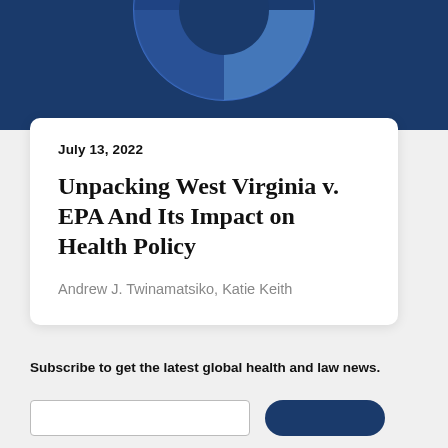[Figure (illustration): Dark navy blue banner with partial pie/donut chart graphic visible at the top]
July 13, 2022
Unpacking West Virginia v. EPA And Its Impact on Health Policy
Andrew J. Twinamatsiko, Katie Keith
Subscribe to get the latest global health and law news.